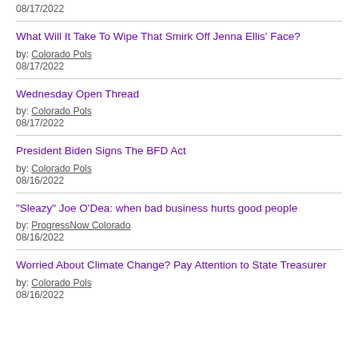08/17/2022
What Will It Take To Wipe That Smirk Off Jenna Ellis' Face?
by: Colorado Pols
08/17/2022
Wednesday Open Thread
by: Colorado Pols
08/17/2022
President Biden Signs The BFD Act
by: Colorado Pols
08/16/2022
"Sleazy" Joe O'Dea: when bad business hurts good people
by: ProgressNow Colorado
08/16/2022
Worried About Climate Change? Pay Attention to State Treasurer
by: Colorado Pols
08/16/2022